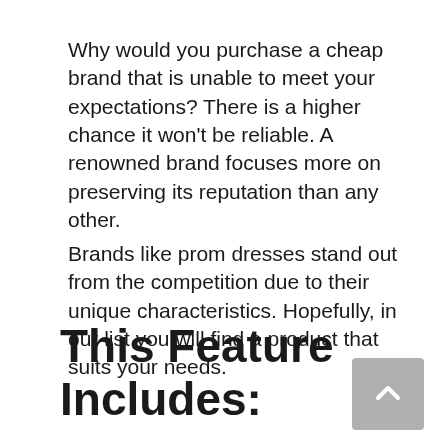Why would you purchase a cheap brand that is unable to meet your expectations? There is a higher chance it won't be reliable. A renowned brand focuses more on preserving its reputation than any other.
Brands like prom dresses stand out from the competition due to their unique characteristics. Hopefully, in our list you will find a product that suits your needs.
This Feature Includes: